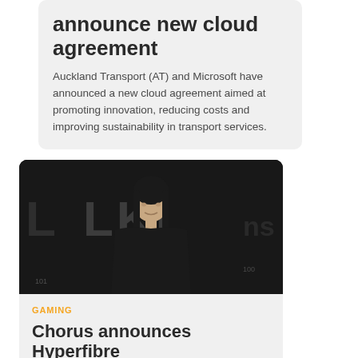announce new cloud agreement
Auckland Transport (AT) and Microsoft have announced a new cloud agreement aimed at promoting innovation, reducing costs and improving sustainability in transport services.
[Figure (photo): Black and white photo of a young woman in a black t-shirt standing in front of a dark background with LKL logo/signage]
GAMING
Chorus announces Hyperfibre